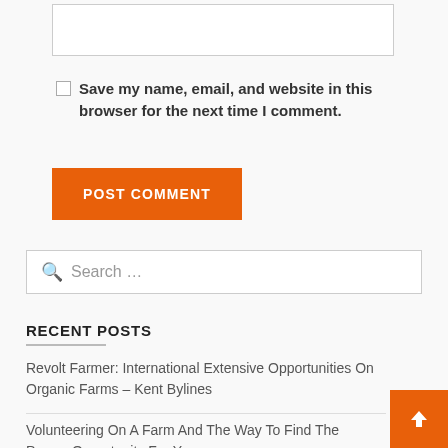[input box]
Save my name, email, and website in this browser for the next time I comment.
POST COMMENT
Search ...
RECENT POSTS
Revolt Farmer: International Extensive Opportunities On Organic Farms – Kent Bylines
Volunteering On A Farm And The Way To Find The Proper Opportunity For You